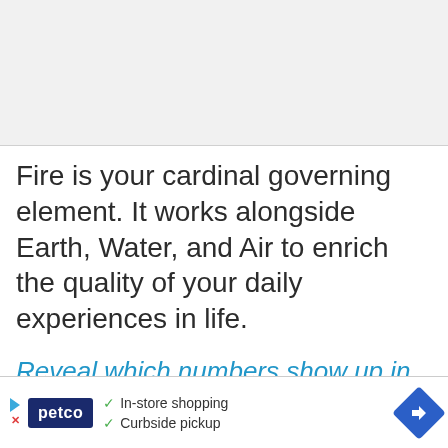[Figure (other): Gray placeholder image area at top of page]
Fire is your cardinal governing element. It works alongside Earth, Water, and Air to enrich the quality of your daily experiences in life.
Reveal which numbers show up in YOUR Numerology Chart »
[Figure (other): Petco advertisement banner at bottom: In-store shopping, Curbside pickup]